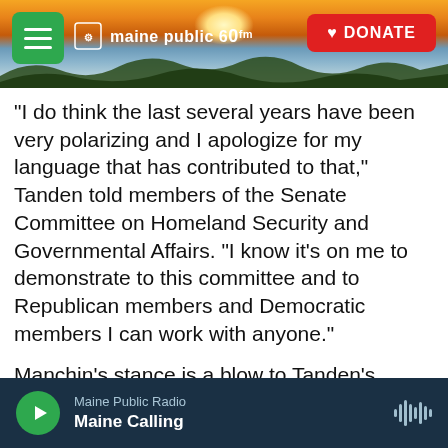[Figure (screenshot): Maine Public website header with sunrise/landscape hero image, green hamburger menu button, Maine Public 60 logo, and red DONATE button]
"I do think the last several years have been very polarizing and I apologize for my language that has contributed to that," Tanden told members of the Senate Committee on Homeland Security and Governmental Affairs. "I know it's on me to demonstrate to this committee and to Republican members and Democratic members I can work with anyone."
Manchin's stance is a blow to Tanden's nomination in a Senate divided 50-50 between the parties. She would need at least one Republican senator to vote in her favor. Republicans have joined Democrats in
Maine Public Radio — Maine Calling